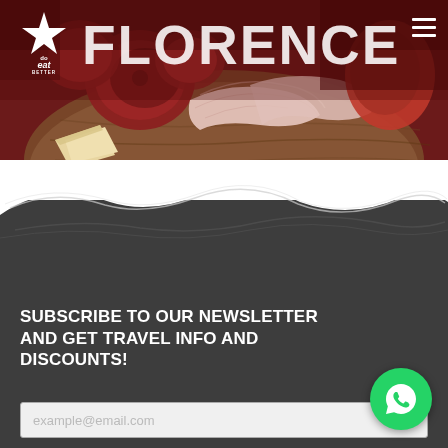[Figure (photo): Food photo showing a wooden board with Italian charcuterie - cured meats (salami, prosciutto), cheese, and other Italian appetizers. Background is dark red/maroon. This is the hero banner image for a Florence food tour website.]
FLORENCE
[Figure (logo): Do Eat Better Experience logo - white star icon with text 'do eat BETTER EXPERIENCE']
[Figure (illustration): Wave/swoosh divider separating the food photo from the dark grey newsletter section below. Includes decorative hand-drawn wave lines.]
SUBSCRIBE TO OUR NEWSLETTER AND GET TRAVEL INFO AND DISCOUNTS!
example@email.com